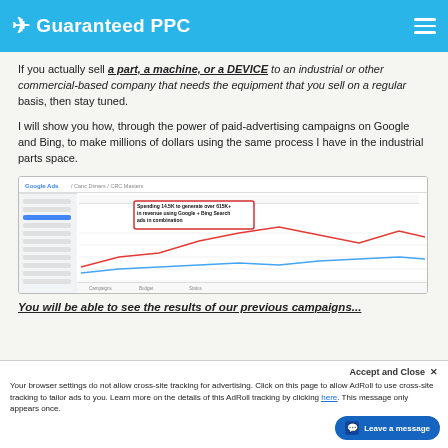Guaranteed PPC
If you actually sell a part, a machine, or a DEVICE to an industrial or other commercial-based company that needs the equipment that you sell on a regular basis, then stay tuned.
I will show you how, through the power of paid-advertising campaigns on Google and Bing, to make millions of dollars using the same process I have in the industrial parts space.
[Figure (screenshot): Google Ads dashboard screenshot showing a line chart with a red callout box that reads: 'Spending 14.5K to generate over 615K+ in revenue using Google + Bing Search ads in combination']
You will be able to see the results of our previous campaigns...
Accept and Close ✕
Your browser settings do not allow cross-site tracking for advertising. Click on this page to allow AdRoll to use cross-site tracking to tailor ads to you. Learn more on the details of this AdRoll tracking by clicking here. This message only appears once.